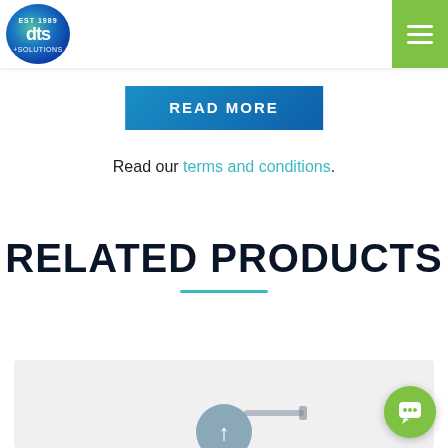[Figure (logo): DTS +Solutions logo — circular gradient (green to blue) with white 'dts' text and '+SOLUTIONS' below, 'EST 1989' at top]
[Figure (other): Green hamburger/menu icon (three white horizontal lines on green background) in top-right header]
READ MORE
Read our terms and conditions.
RELATED PRODUCTS
[Figure (photo): Partial product photo stub at bottom of page showing beginning of a product card with a circular arrow/refresh icon (blue-grey) and what appears to be a cable or product item]
[Figure (other): Green circular chat/messaging button in bottom-right corner]